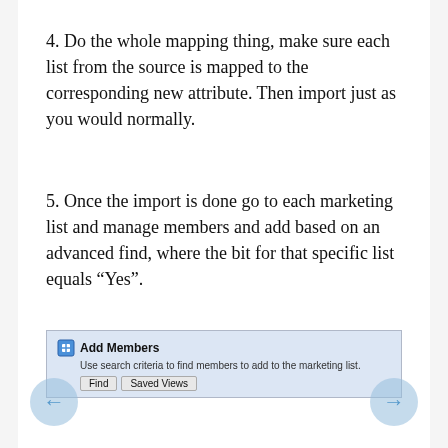4. Do the whole mapping thing, make sure each list from the source is mapped to the corresponding new attribute.  Then import just as you would normally.
5. Once the import is done go to each marketing list and manage members and add based on an advanced find, where the bit for that specific list equals “Yes”.
[Figure (screenshot): Screenshot of an 'Add Members' dialog panel with light blue background. Header shows an icon and bold text 'Add Members'. Below it reads 'Use search criteria to find members to add to the marketing list.' Followed by two buttons: 'Find' and 'Saved Views'.]